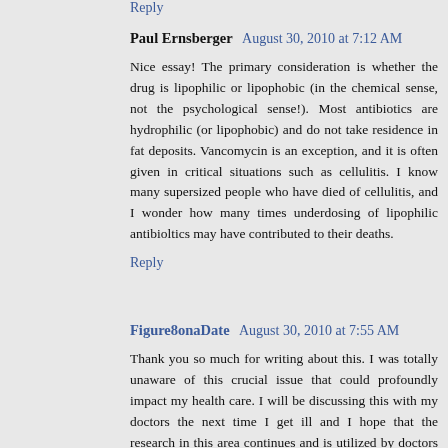Reply
Paul Ernsberger  August 30, 2010 at 7:12 AM
Nice essay! The primary consideration is whether the drug is lipophilic or lipophobic (in the chemical sense, not the psychological sense!). Most antibiotics are hydrophilic (or lipophobic) and do not take residence in fat deposits. Vancomycin is an exception, and it is often given in critical situations such as cellulitis. I know many supersized people who have died of cellulitis, and I wonder how many times underdosing of lipophilic antibioltics may have contributed to their deaths.
Reply
Figure8onaDate  August 30, 2010 at 7:55 AM
Thank you so much for writing about this. I was totally unaware of this crucial issue that could profoundly impact my health care. I will be discussing this with my doctors the next time I get ill and I hope that the research in this area continues and is utilized by doctors in the field sooner than